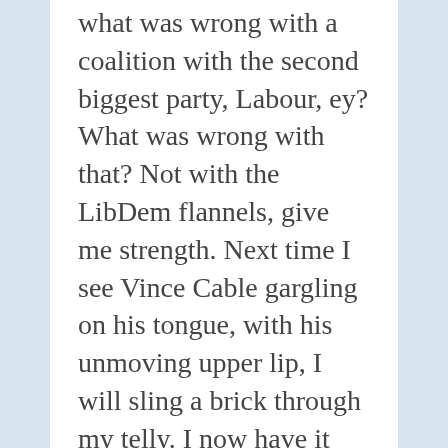what was wrong with a coalition with the second biggest party, Labour, ey? What was wrong with that? Not with the LibDem flannels, give me strength. Next time I see Vince Cable gargling on his tongue, with his unmoving upper lip, I will sling a brick through my telly. I now have it ready, and I park it up on my bedside cabinet, just in case if he appears when I watch late night telly.